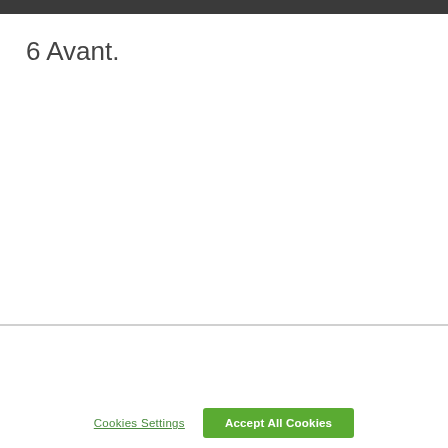6 Avant.
By clicking “Accept All Cookies”, you agree to the storing of cookies on your device to enhance site navigation, analyze site usage, and assist in our marketing efforts.
Cookies Settings
Accept All Cookies